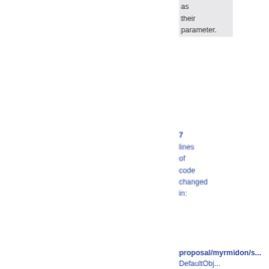type as their parameter.
7 lines of code changed in:
proposal/myrmidon/s... DefaultObj...
adammurdoch 2002-03-19 11:19
Configurer changes:
* Handle the case where a class has...